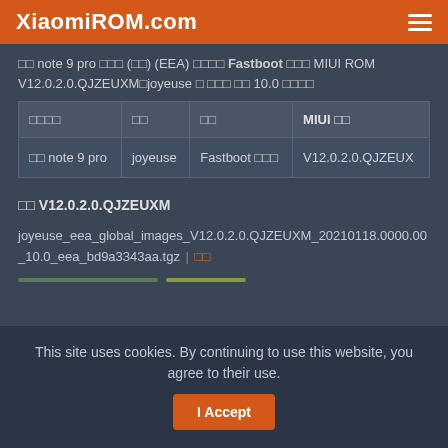XiaomiROM.com
NN note 9 pro NNN (NN) (EEA) NNNN Fastboot NNN MIUI ROM V12.0.2.0.QJZEUXMNjoyeuse N NNN NN 10.0 NNNN
| NNNN | NN | NN | MIUI NN |
| --- | --- | --- | --- |
| NN note 9 pro | joyeuse | Fastboot NNN | V12.0.2.0.QJZEUX |
NN V12.0.2.0.QJZEUXM
joyeuse_eea_global_images_V12.0.2.0.QJZEUXM_20210118.0000.00_10.0_eea_bd9a3343aa.tgz | NN
This site uses cookies. By continuing to use this website, you agree to their use. I Accept